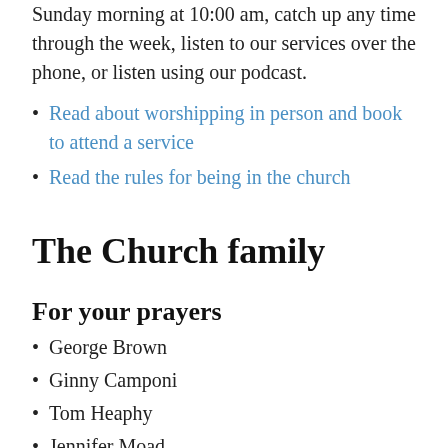Sunday morning at 10:00 am, catch up any time through the week, listen to our services over the phone, or listen using our podcast.
Read about worshipping in person and book to attend a service
Read the rules for being in the church
The Church family
For your prayers
George Brown
Ginny Camponi
Tom Heaphy
Jennifer Moad
Christine Oates
Margaret Tomlinson